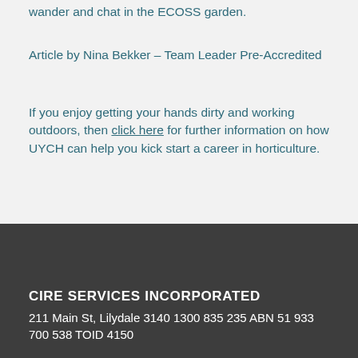wander and chat in the ECOSS garden.
Article by Nina Bekker – Team Leader Pre-Accredited
If you enjoy getting your hands dirty and working outdoors, then click here for further information on how UYCH can help you kick start a career in horticulture.
CIRE SERVICES INCORPORATED
211 Main St, Lilydale 3140 1300 835 235 ABN 51 933 700 538 TOID 4150